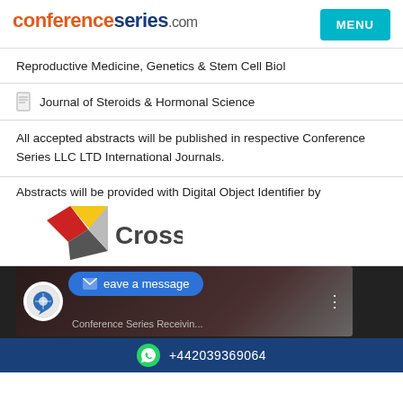conferenceseries.com
Reproductive Medicine, Genetics & Stem Cell Biol
Journal of Steroids & Hormonal Science
All accepted abstracts will be published in respective Conference Series LLC LTD International Journals.
Abstracts will be provided with Digital Object Identifier by
[Figure (logo): Crossref logo with colorful geometric arrow shapes and the word Crossref in dark gray]
[Figure (screenshot): Video thumbnail showing Conference Series Receivin... with leave a message bubble overlay and phone number footer]
+442039369064